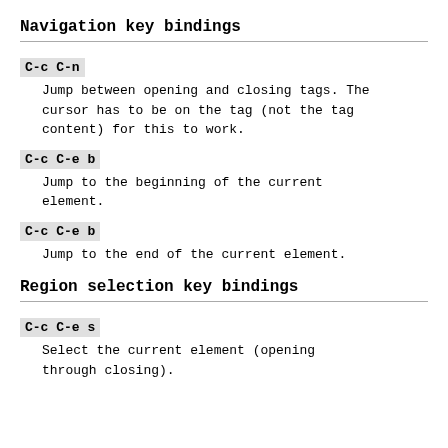Navigation key bindings
C-c C-n
Jump between opening and closing tags. The cursor has to be on the tag (not the tag content) for this to work.
C-c C-e b
Jump to the beginning of the current element.
C-c C-e b
Jump to the end of the current element.
Region selection key bindings
C-c C-e s
Select the current element (opening through closing).